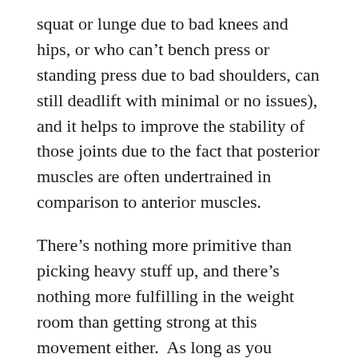squat or lunge due to bad knees and hips, or who can't bench press or standing press due to bad shoulders, can still deadlift with minimal or no issues), and it helps to improve the stability of those joints due to the fact that posterior muscles are often undertrained in comparison to anterior muscles.
There's nothing more primitive than picking heavy stuff up, and there's nothing more fulfilling in the weight room than getting strong at this movement either.  As long as you practice good form, you can be sure you're doing your muscles and joints an awesome service, and the added joint stability can even translate into having stronger pressing strength. Plus, you can make deadlift variations just as easily by doing some RDL's, adding a deficit for more ROM, changing the stance to a duck stance or a sumo style, or even using one leg at a time.  If you don't have